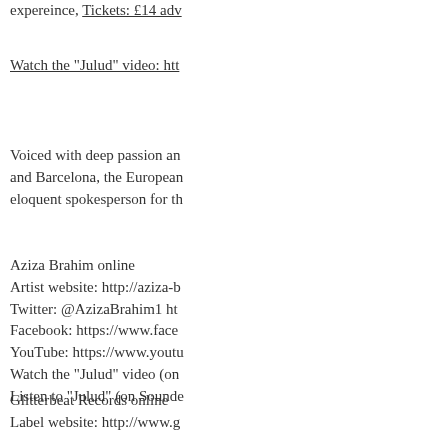expereince, Tickets: £14 adv
Watch the "Julud" video: htt
Voiced with deep passion and... and Barcelona, the European... eloquent spokesperson for th
Aziza Brahim online
Artist website: http://aziza-b
Twitter: @AzizaBrahim1 ht
Facebook: https://www.face
YouTube: https://www.youtu
Watch the "Julud" video (on
Listen to "Julud" (on Sounde
Glitterbeat Records online
Label website: http://www.g